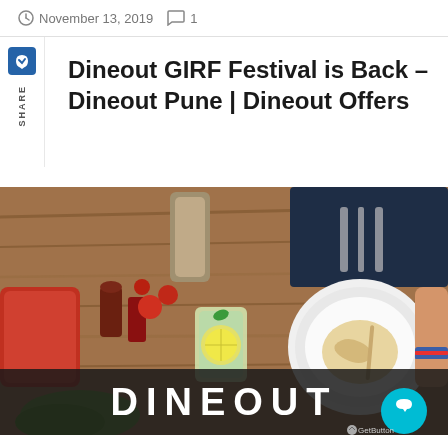November 13, 2019  1
Dineout GIRF Festival is Back – Dineout Pune | Dineout Offers
[Figure (photo): Overhead view of a restaurant table with food, drinks, cutlery on a wooden surface. A white plate, green glass with lemon, and various condiments visible. A person's arm with a bracelet is seen. At the bottom, a dark overlay with the text DINEOUT in large white bold letters, and a cyan chat button in the bottom right.]